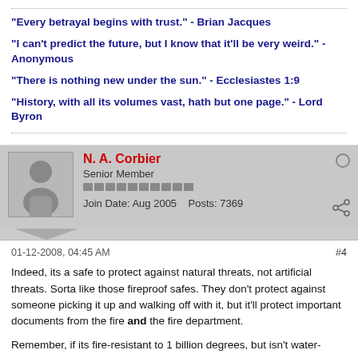"Every betrayal begins with trust." - Brian Jacques
"I can't predict the future, but I know that it'll be very weird." - Anonymous
"There is nothing new under the sun." - Ecclesiastes 1:9
"History, with all its volumes vast, hath but one page." - Lord Byron
N. A. Corbier
Senior Member
Join Date: Aug 2005   Posts: 7369
01-12-2008, 04:45 AM
#4
Indeed, its a safe to protect against natural threats, not artificial threats. Sorta like those fireproof safes. They don't protect against someone picking it up and walking off with it, but it'll protect important documents from the fire and the fire department.

Remember, if its fire-resistant to 1 billion degrees, but isn't water-proof, the fire department will inadvertently destroy it when they put the fire out.